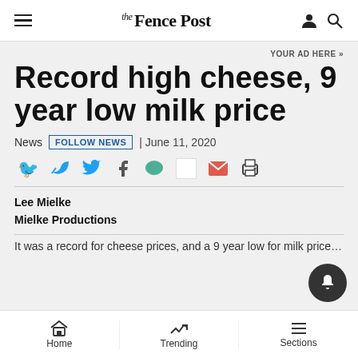the Fence Post
YOUR AD HERE »
Record high cheese, 9 year low milk price
News  FOLLOW NEWS  | June 11, 2020
Lee Mielke
Mielke Productions
It was a record for...
Home  Trending  Sections